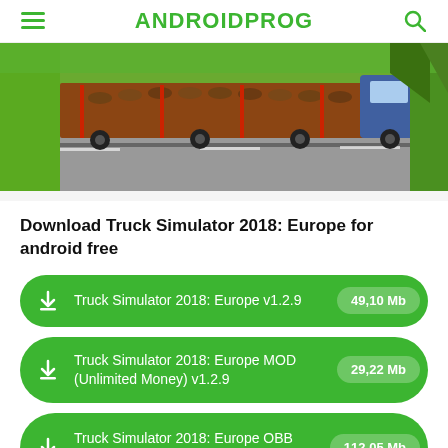ANDROIDPROG
[Figure (screenshot): Truck simulator game screenshot showing a truck carrying logs on a highway with green fields and trees]
Download Truck Simulator 2018: Europe for android free
Truck Simulator 2018: Europe v1.2.9  49,10 Mb
Truck Simulator 2018: Europe MOD (Unlimited Money) v1.2.9  29,22 Mb
Truck Simulator 2018: Europe OBB v1.2.9  112,05 Mb